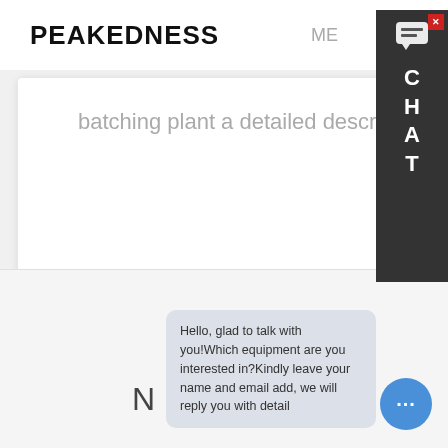PEAKEDNESS   ME
batching plant  a detailed description and presentation, you can through the.
Learn More
Leave a comment
Hello, glad to talk with you!Which equipment are you interested in?Kindly leave your name and email add, we will reply you with detail
N